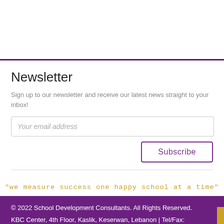Newsletter
Sign up to our newsletter and receive our latest news straight to your inbox!
Your email address
Subscribe
"we measure success one happy school at a time"
© 2022 School Development Consultants. All Rights Reserved. KBC Center, 4th Floor, Kaslik, Keserwan, Lebanon | Tel/Fax: